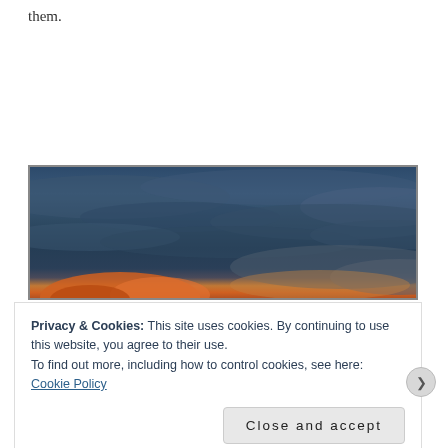them.
[Figure (photo): Dramatic sky photograph showing dark blue clouds with orange/red glow near the horizon at dusk or dawn]
Privacy & Cookies: This site uses cookies. By continuing to use this website, you agree to their use.
To find out more, including how to control cookies, see here:
Cookie Policy
Close and accept